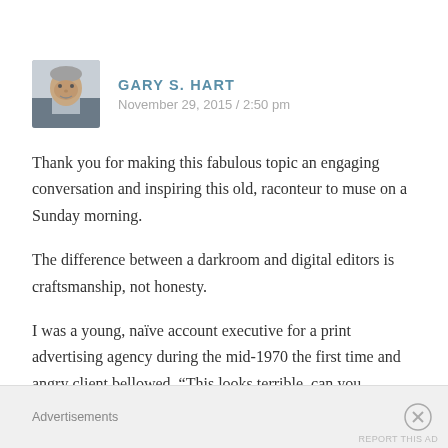[Figure (photo): Avatar photo of Gary S. Hart, a man in a suit jacket]
GARY S. HART
November 29, 2015 / 2:50 pm
Thank you for making this fabulous topic an engaging conversation and inspiring this old, raconteur to muse on a Sunday morning.
The difference between a darkroom and digital editors is craftsmanship, not honesty.
I was a young, naïve account executive for a print advertising agency during the mid-1970 the first time and angry client bellowed, “This looks terrible, can you airbrush it?” because his product, shot by a top photographer with a 4x5
Advertisements
REPORT THIS AD